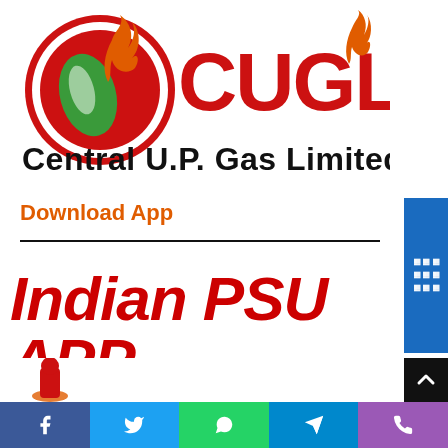[Figure (logo): CUGL Central U.P. Gas Limited logo — red circle with green leaf flame icon, red CUGL text with orange flame, black tagline 'Central U.P. Gas Limited']
Download App
Indian PSU APP
[Figure (screenshot): Partial screenshot showing bottom of a webpage with a mascot figure and a phone/app banner, plus social media share bar at bottom: Facebook, Twitter, WhatsApp, Telegram, Phone]
Facebook | Twitter | WhatsApp | Telegram | Phone